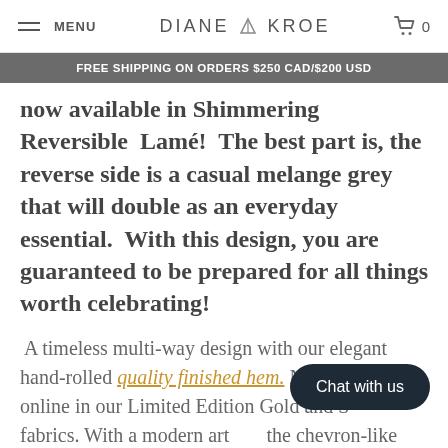MENU  DIANE KROE  0
FREE SHIPPING ON ORDERS $250 CAD/$200 USD
now available in Shimmering Reversible  Lamé!  The best part is, the reverse side is a casual melange grey that will double as an everyday essential.  With this design, you are guaranteed to be prepared for all things worth celebrating!
A timeless multi-way design with our elegant hand-rolled quality finished hem. Now available online in our Limited Edition Gold and S... fabrics. With a modern art... the chevron-like print embedded in
Chat with us